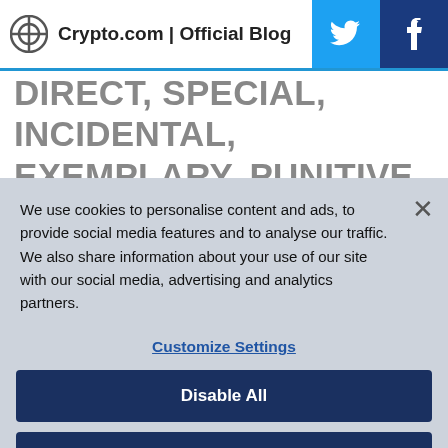Crypto.com | Official Blog
DIRECT, SPECIAL, INCIDENTAL, EXEMPLARY, PUNITIVE OR CONSEQUENTIAL DAMAGES (INCLUDING LOSS OF USE, DATA, BUSINESS OR PROFITS) ARISING OUT OF OR IN CONNECTION WITH ENTRANTS
We use cookies to personalise content and ads, to provide social media features and to analyse our traffic. We also share information about your use of our site with our social media, advertising and analytics partners.
Customize Settings
Disable All
Accept All